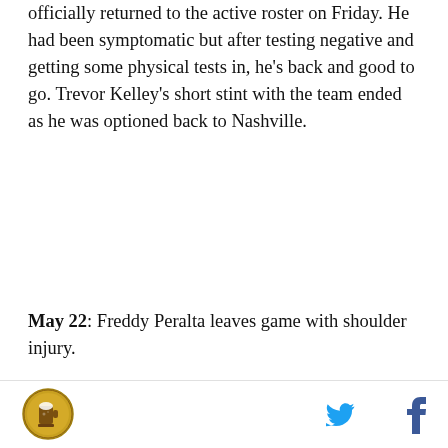officially returned to the active roster on Friday. He had been symptomatic but after testing negative and getting some physical tests in, he's back and good to go. Trevor Kelley's short stint with the team ended as he was optioned back to Nashville.
May 22: Freddy Peralta leaves game with shoulder injury.
[Figure (screenshot): Video player showing a baseball game clip with 'Top Articles' badge, large play button overlay, controls bar with play/mute/next buttons, and caption 'Rangers relievers hilariously']
Site logo (circular badge) on left; Twitter and Facebook social icons on right